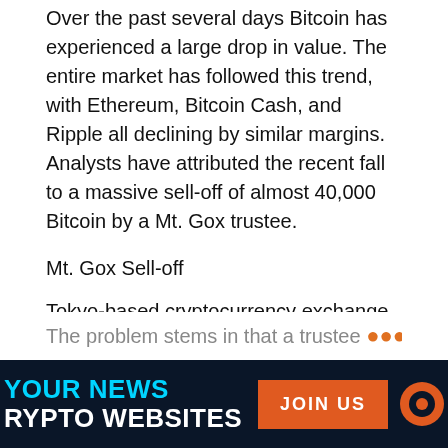Over the past several days Bitcoin has experienced a large drop in value. The entire market has followed this trend, with Ethereum, Bitcoin Cash, and Ripple all declining by similar margins. Analysts have attributed the recent fall to a massive sell-off of almost 40,000 Bitcoin by a Mt. Gox trustee.
Mt. Gox Sell-off
Tokyo-based cryptocurrency exchange Mt. Gox was formed in 2010, and just four years later was responsible for over 70% of all Bitcoin transactions worldwide. Unfortunately, in 2014 the exchange closed down and filed for bankruptcy following the theft of approximately 850,000 Bitcoin.
The problem stems in that a trustee...
YOUR NEWS | CRYPTO WEBSITES | JOIN US